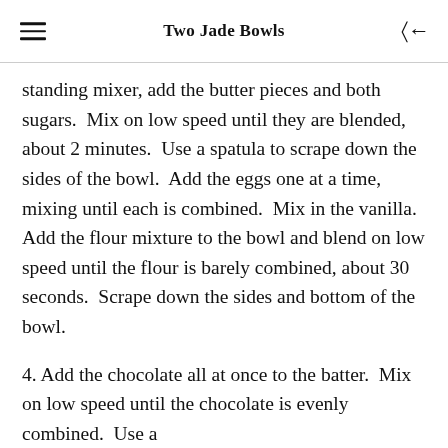Two Jade Bowls
standing mixer, add the butter pieces and both sugars.  Mix on low speed until they are blended, about 2 minutes.  Use a spatula to scrape down the sides of the bowl.  Add the eggs one at a time, mixing until each is combined.  Mix in the vanilla.  Add the flour mixture to the bowl and blend on low speed until the flour is barely combined, about 30 seconds.  Scrape down the sides and bottom of the bowl.
4. Add the chocolate all at once to the batter.  Mix on low speed until the chocolate is evenly combined.  Use a